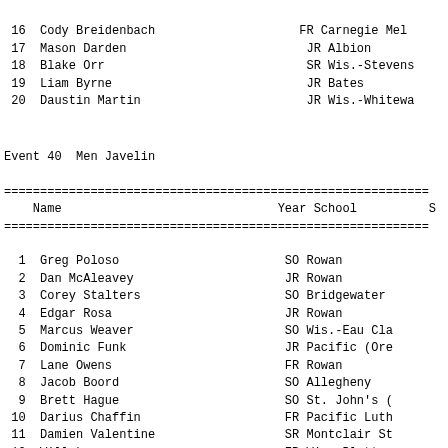| # | Name | Year | School |
| --- | --- | --- | --- |
| 16 | Cody Breidenbach | FR | Carnegie Mel |
| 17 | Mason Darden | JR | Albion |
| 18 | Blake Orr | SR | Wis.-Stevens |
| 19 | Liam Byrne | JR | Bates |
| 20 | Daustin Martin | JR | Wis.-Whitewa |
Event 40  Men Javelin
| # | Name | Year | School |
| --- | --- | --- | --- |
| 1 | Greg Poloso | SO | Rowan |
| 2 | Dan McAleavey | JR | Rowan |
| 3 | Corey Stalters | SO | Bridgewater |
| 4 | Edgar Rosa | JR | Rowan |
| 5 | Marcus Weaver | SO | Wis.-Eau Cla |
| 6 | Dominic Funk | JR | Pacific (Ore |
| 7 | Lane Owens | FR | Rowan |
| 8 | Jacob Boord | SO | Allegheny |
| 9 | Brett Hague | SO | St. John's ( |
| 10 | Darius Chaffin | FR | Pacific Luth |
| 11 | Damien Valentine | SR | Montclair St |
| 12 | Will Lawrence | FR | Wis.-Plattev |
| 13 | Truman Knowles | JR | Claremont-Mu |
| 14 | Cameron Hasko | SO | Salisbury |
| 15 | Matt Metcalf | JR | Linfield |
| 16 | Seth Ray | SR | Grove City |
| 17 | Julio Lebron | SO | Rowan |
| 18 | Benjamin Adams | SR | Belhaven |
| 19 | Maxwell Knowles | SR | Claremont-Mu |
| 20 | Jack Ellis | JR | George Fox |